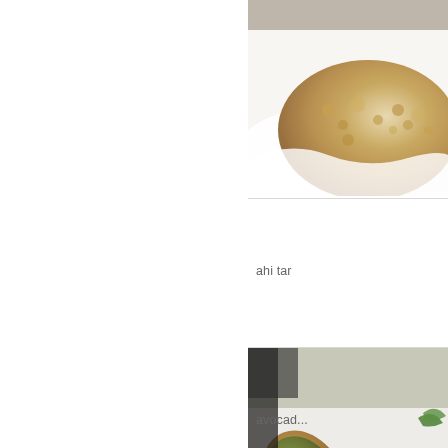[Figure (photo): Close-up photo of fried/battered food item on a white plate, partially cropped, showing golden-brown crispy texture]
ahi tar
[Figure (photo): Photo of tempura-battered food items (possibly avocado tempura) served on white rice noodles with a dipping sauce in a small glass bowl]
avocad...